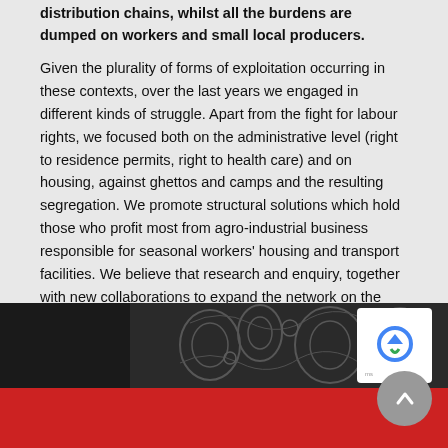distribution chains, whilst all the burdens are dumped on workers and small local producers.
Given the plurality of forms of exploitation occurring in these contexts, over the last years we engaged in different kinds of struggle. Apart from the fight for labour rights, we focused both on the administrative level (right to residence permits, right to health care) and on housing, against ghettos and camps and the resulting segregation. We promote structural solutions which hold those who profit most from agro-industrial business responsible for seasonal workers' housing and transport facilities. We believe that research and enquiry, together with new collaborations to expand the network on the local, national and international level, are the key features to compose and reinforce the struggle against global exploitation.
[Figure (photo): Dark background section with decorative pattern overlay and a dark left panel, above a red footer bar. A circular grey scroll-to-top button with an upward arrow is visible in the bottom right, with a reCAPTCHA widget above it.]